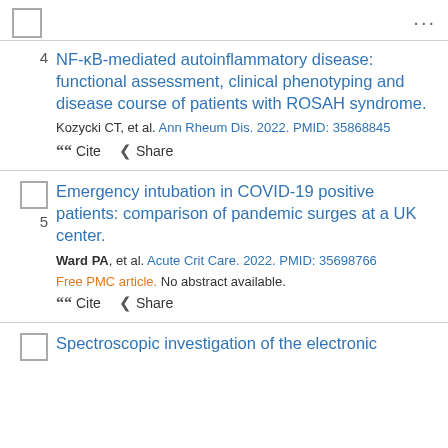4. NF-κB-mediated autoinflammatory disease: functional assessment, clinical phenotyping and disease course of patients with ROSAH syndrome. Kozycki CT, et al. Ann Rheum Dis. 2022. PMID: 35868845 Cite Share
5. Emergency intubation in COVID-19 positive patients: comparison of pandemic surges at a UK center. Ward PA, et al. Acute Crit Care. 2022. PMID: 35698766 Free PMC article. No abstract available. Cite Share
Spectroscopic investigation of the electronic